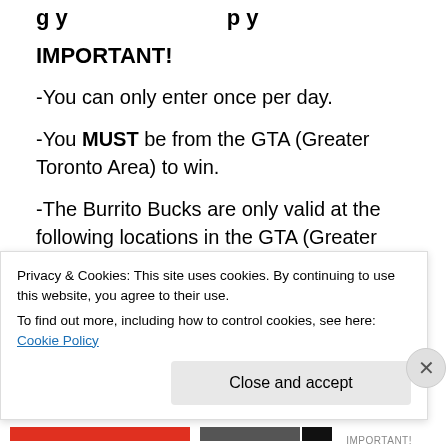g y p y
IMPORTANT!
-You can only enter once per day.
-You MUST be from the GTA (Greater Toronto Area) to win.
-The Burrito Bucks are only valid at the following locations in the GTA (Greater Toronto Area):
123 Front Street West,Toronto(near Union Station)
333 Yonge Street (Yonge and Dundas)
Privacy & Cookies: This site uses cookies. By continuing to use this website, you agree to their use.
To find out more, including how to control cookies, see here: Cookie Policy
Close and accept